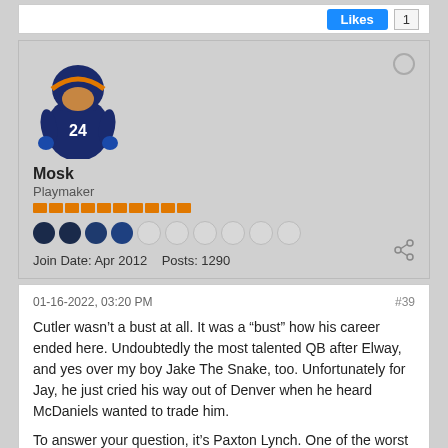[Figure (screenshot): Top bar with Likes button and count of 1]
[Figure (illustration): Denver Broncos player #24 avatar image]
Mosk
Playmaker
Join Date: Apr 2012    Posts: 1290
01-16-2022, 03:20 PM
#39
Cutler wasn't a bust at all. It was a “bust” how his career ended here. Undoubtedly the most talented QB after Elway, and yes over my boy Jake The Snake, too. Unfortunately for Jay, he just cried his way out of Denver when he heard McDaniels wanted to trade him.

To answer your question, it’s Paxton Lynch. One of the worst QBs in recent memory.
2016 Adopt-A-Bronco: CB-Chris Harris Jr.